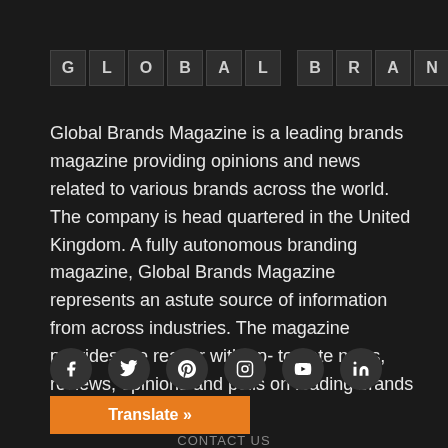GLOBAL BRANDS   About Us
Global Brands Magazine is a leading brands magazine providing opinions and news related to various brands across the world. The company is head quartered in the United Kingdom. A fully autonomous branding magazine, Global Brands Magazine represents an astute source of information from across industries. The magazine provides the reader with up- to date news, reviews, opinions and polls on leading brands across the globe.
[Figure (infographic): Social media icons: Facebook, Twitter, Pinterest, Instagram, YouTube, LinkedIn — each in a dark circle]
Translate »
CONTACT US